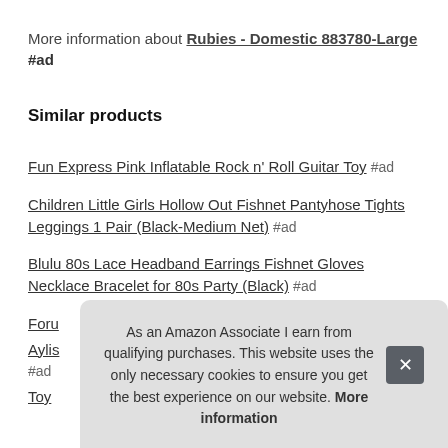More information about Rubies - Domestic 883780-Large
#ad
Similar products
Fun Express Pink Inflatable Rock n' Roll Guitar Toy #ad
Children Little Girls Hollow Out Fishnet Pantyhose Tights Leggings 1 Pair (Black-Medium Net) #ad
Blulu 80s Lace Headband Earrings Fishnet Gloves Necklace Bracelet for 80s Party (Black) #ad
Foru...
Aylis... #ad
Toy...
As an Amazon Associate I earn from qualifying purchases. This website uses the only necessary cookies to ensure you get the best experience on our website. More information